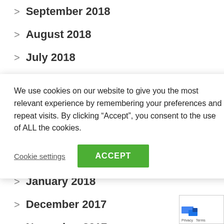September 2018
August 2018
July 2018
We use cookies on our website to give you the most relevant experience by remembering your preferences and repeat visits. By clicking “Accept”, you consent to the use of ALL the cookies.
January 2018
December 2017
November 2017
October 2017